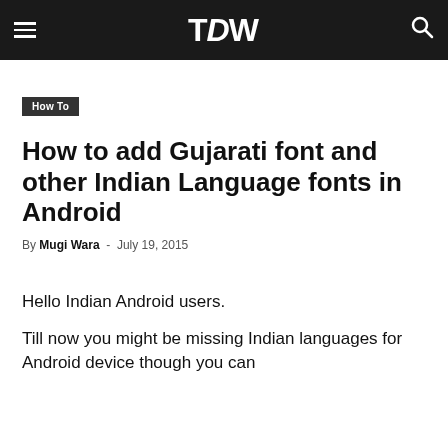TDW
How To
How to add Gujarati font and other Indian Language fonts in Android
By Mugi Wara - July 19, 2015
Hello Indian Android users.
Till now you might be missing Indian languages for Android device though you can